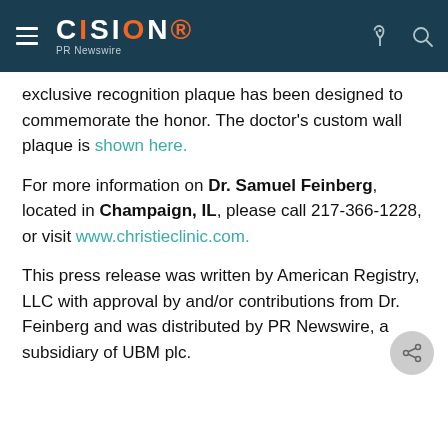CISION PR Newswire
exclusive recognition plaque has been designed to commemorate the honor. The doctor's custom wall plaque is shown here.
For more information on Dr. Samuel Feinberg, located in Champaign, IL, please call 217-366-1228, or visit www.christieclinic.com.
This press release was written by American Registry, LLC with approval by and/or contributions from Dr. Feinberg and was distributed by PR Newswire, a subsidiary of UBM plc.